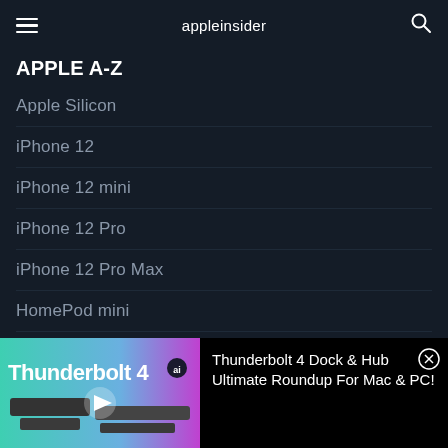appleinsider
APPLE A-Z
Apple Silicon
iPhone 12
iPhone 12 mini
iPhone 12 Pro
iPhone 12 Pro Max
HomePod mini
14" MacBook Pro
[Figure (screenshot): Advertisement banner for Thunderbolt 4 Dock & Hub Ultimate Roundup For Mac & PC! showing dock hardware images with play button overlay]
Thunderbolt 4 Dock & Hub Ultimate Roundup For Mac & PC!